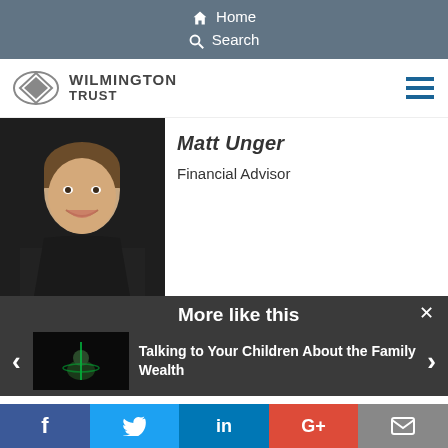Home  Search
[Figure (logo): Wilmington Trust logo with diamond/shield shape and text WILMINGTON TRUST]
Matt Unger
Financial Advisor
[Figure (photo): Headshot photo of Matt Unger, smiling man in suit]
More like this
Talking to Your Children About the Family Wealth
As a Financial Advisor with M&T Securities, Inc., Matt